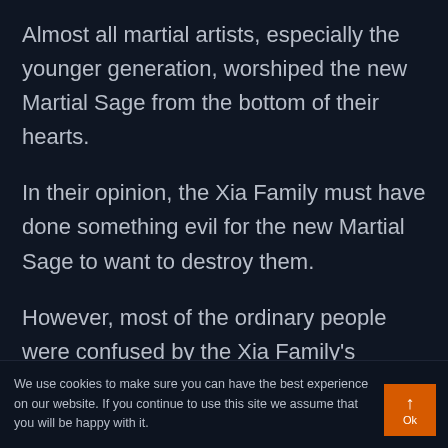Almost all martial artists, especially the younger generation, worshiped the new Martial Sage from the bottom of their hearts.
In their opinion, the Xia Family must have done something evil for the new Martial Sage to want to destroy them.
However, most of the ordinary people were confused by the Xia Family’s complaints.
Especially the older generation, they had
We use cookies to make sure you can have the best experience on our website. If you continue to use this site we assume that you will be happy with it.